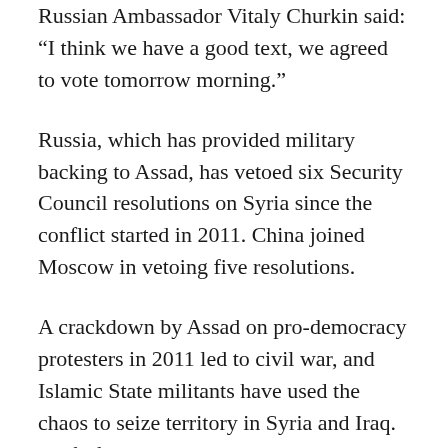Russian Ambassador Vitaly Churkin said: “I think we have a good text, we agreed to vote tomorrow morning.”
Russia, which has provided military backing to Assad, has vetoed six Security Council resolutions on Syria since the conflict started in 2011. China joined Moscow in vetoing five resolutions.
A crackdown by Assad on pro-democracy protesters in 2011 led to civil war, and Islamic State militants have used the chaos to seize territory in Syria and Iraq. Half of Syria’s 22 million people have been uprooted and more than 400,000 killed.
Additional reporting by Stephanie Nebehay in Geneva and